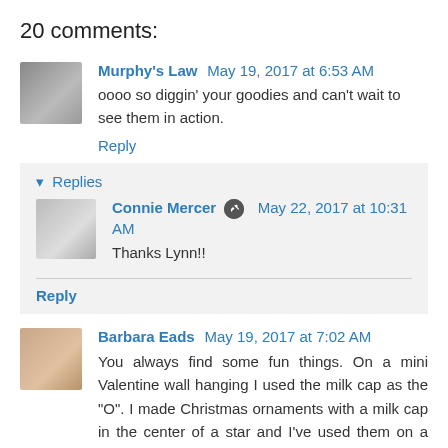20 comments:
Murphy's Law May 19, 2017 at 6:53 AM
oooo so diggin' your goodies and can't wait to see them in action.
Reply
▾ Replies
Connie Mercer May 22, 2017 at 10:31 AM
Thanks Lynn!!
Reply
Barbara Eads May 19, 2017 at 7:02 AM
You always find some fun things. On a mini Valentine wall hanging I used the milk cap as the "O". I made Christmas ornaments with a milk cap in the center of a star and I've used them on a scrapbook page. I just love the touch of vintage they